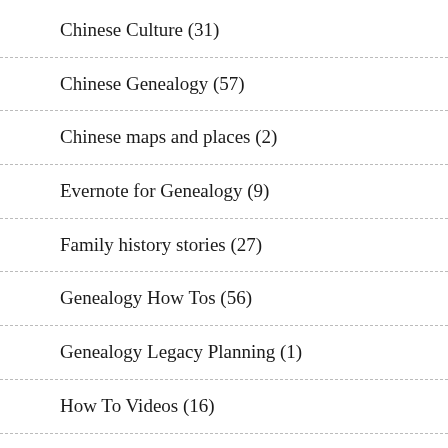Chinese Culture (31)
Chinese Genealogy (57)
Chinese maps and places (2)
Evernote for Genealogy (9)
Family history stories (27)
Genealogy How Tos (56)
Genealogy Legacy Planning (1)
How To Videos (16)
Japanese Genealogy (9)